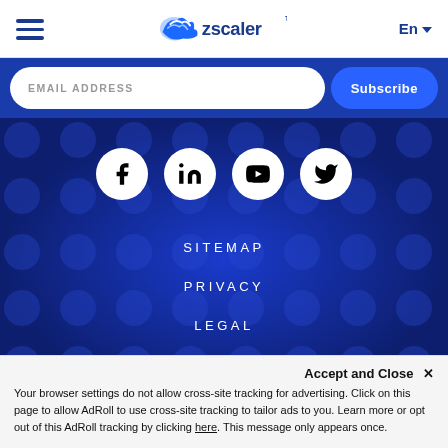Zscaler navigation bar with hamburger menu, Zscaler logo, and En language selector
EMAIL ADDRESS | Subscribe
[Figure (other): Dark blue dotted background with circular dot pattern overlay]
[Figure (other): Social media icons row: Facebook, LinkedIn, YouTube, Twitter — white circles on dark blue background]
SITEMAP
PRIVACY
LEGAL
SECURITY
©2022 Zscaler, Inc. All rights reserved. Zscaler™ and Zero Trust Exchange™ are either (i) registered trademarks or service marks or (ii) trademarks or service marks of Zscaler, Inc.
Accept and Close ✕
Your browser settings do not allow cross-site tracking for advertising. Click on this page to allow AdRoll to use cross-site tracking to tailor ads to you. Learn more or opt out of this AdRoll tracking by clicking here. This message only appears once.